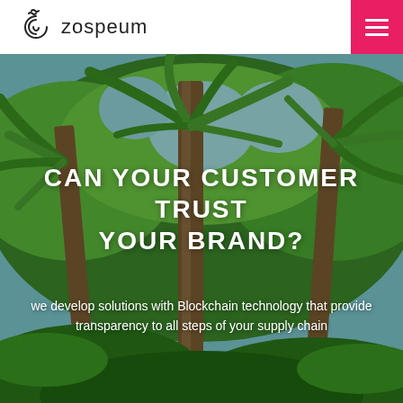[Figure (logo): Zospeum logo with spiral/wave icon and text 'zospeum']
[Figure (photo): Tropical jungle background with tall palm trees and dense green foliage]
CAN YOUR CUSTOMER TRUST YOUR BRAND?
we develop solutions with Blockchain technology that provide transparency to all steps of your supply chain